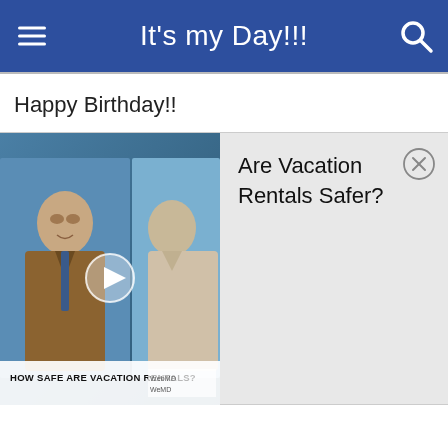It's my Day!!!
Happy Birthday!!
[Figure (screenshot): Video thumbnail showing two men in a split-screen interview setup with text overlay reading 'HOW SAFE ARE VACATION RENTALS?' and a WebMD logo, with a play button in the center]
Are Vacation Rentals Safer?